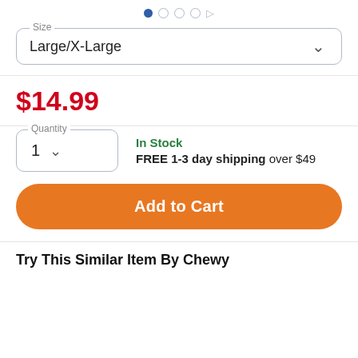[Figure (other): Pagination indicator dots: one filled blue circle, three empty circles, and a right arrow, shown in a horizontal row]
Size
Large/X-Large
$14.99
Quantity
1
In Stock
FREE 1-3 day shipping over $49
Add to Cart
Try This Similar Item By Chewy